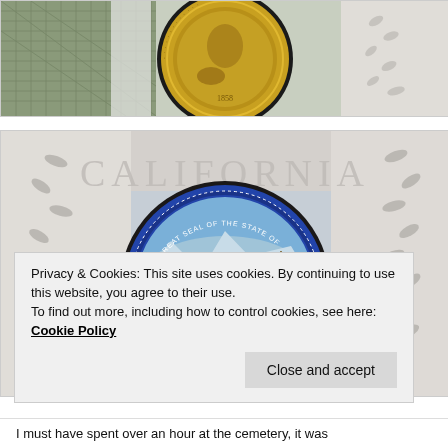[Figure (photo): Partial view of a golden/brass circular seal or medallion with decorative border, mounted or displayed against a background with wire mesh and stone/white carved elements including leaves.]
[Figure (photo): Colorful circular stained glass or decorative medallion depicting the Great Seal of the State of California, featuring Minerva, a grizzly bear, ships, and the word CALIFORNIA. Displayed against a stone background with decorative carved leaves and the word CALIFORNIA engraved.]
Privacy & Cookies: This site uses cookies. By continuing to use this website, you agree to their use.
To find out more, including how to control cookies, see here: Cookie Policy
I must have spent over an hour at the cemetery, it was